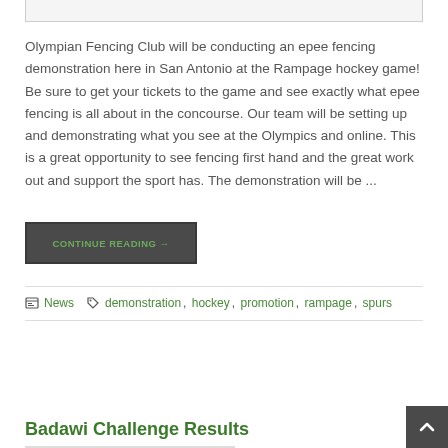[Figure (illustration): Partial view of fencing-related illustration or image at top of page, cropped]
Olympian Fencing Club will be conducting an epee fencing demonstration here in San Antonio at the Rampage hockey game! Be sure to get your tickets to the game and see exactly what epee fencing is all about in the concourse. Our team will be setting up and demonstrating what you see at the Olympics and online. This is a great opportunity to see fencing first hand and the great work out and support the sport has. The demonstration will be ...
CONTINUE READING →
News   demonstration, hockey, promotion, rampage, spurs
Badawi Challenge Results